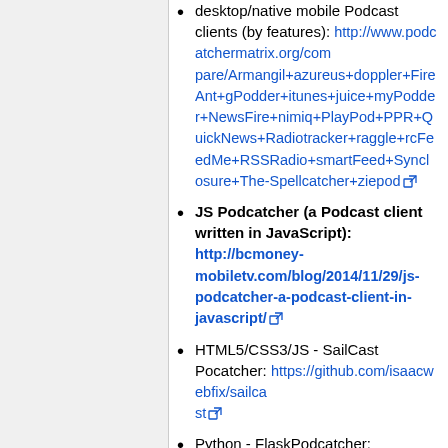desktop/native mobile Podcast clients (by features): http://www.podcatchermatrix.org/compare/Armangil+azureus+doppler+FireAnt+gPodder+itunes+juice+myPodder+NewsFire+nimiq+PlayPod+PPR+QuickNews+Radiotracker+raggle+rcFeedMe+RSSRadio+smartFeed+Synclosure+The-Spellcatcher+ziepod [external link]
JS Podcatcher (a Podcast client written in JavaScript): http://bcmoney-mobiletv.com/blog/2014/11/29/js-podcatcher-a-podcast-client-in-javascript/ [external link]
HTML5/CSS3/JS - SailCast Pocatcher: https://github.com/isaacwebfix/sailcast [external link]
Python - FlaskPodcatcher: